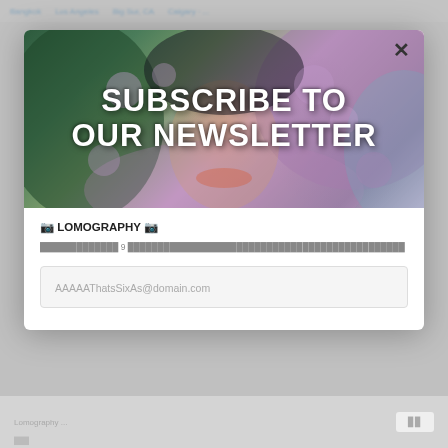Bangkok  Los Angeles  Big Sur, CA  Calgary  ...
[Figure (photo): Newsletter subscription modal popup image showing a person's face partially hidden by purple lilac flowers with bold white text overlaid reading 'SUBSCRIBE TO OUR NEWSLETTER']
🎞 LOMOGRAPHY 🎞
░░░░░░░░░░░░░ 9 ░░░░░░░░░░░░░░░░░░░░░░░░░░░░░░░░░░░░░░░░░░░░░░░
AAAAAThatsSixAs@domain.com
░░░